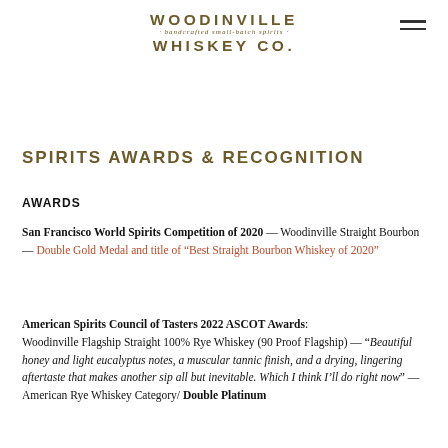[Figure (logo): Woodinville Whiskey Co. logo with text 'WOODINVILLE · bandcrafted small-batch spirits · WHISKEY CO.']
SPIRITS AWARDS & RECOGNITION
AWARDS
San Francisco World Spirits Competition of 2020 — Woodinville Straight Bourbon — Double Gold Medal and title of "Best Straight Bourbon Whiskey of 2020"
American Spirits Council of Tasters 2022 ASCOT Awards: Woodinville Flagship Straight 100% Rye Whiskey (90 Proof Flagship) — "Beautiful honey and light eucalyptus notes, a muscular tannic finish, and a drying, lingering aftertaste that makes another sip all but inevitable. Which I think I'll do right now" — American Rye Whiskey Category/ Double Platinum